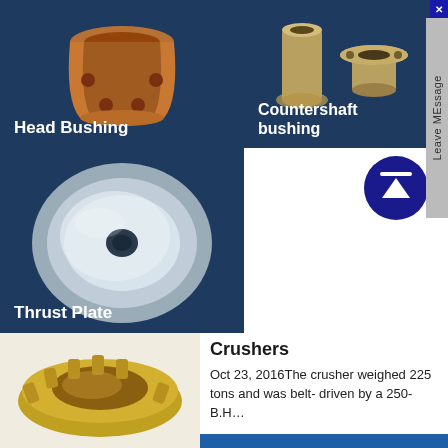[Figure (photo): Copper/bronze Head Bushing component on dark blue background]
Head Bushing
[Figure (photo): Countershaft bushing metallic components on dark blue background]
Countershaft bushing
[Figure (photo): Circular metallic Thrust Plate component on dark blue background]
Thrust Plate
[Figure (illustration): Up arrow icon in dark blue circle]
[Figure (photo): Golden/brass crusher gear ring component]
Crushers
Oct 23, 2016The crusher weighed 225 tons and was belt- driven by a 250-B.H…